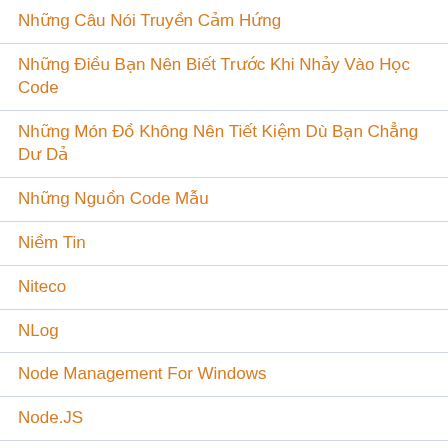Những Câu Nói Truyền Cảm Hứng
Những Điều Bạn Nên Biết Trước Khi Nhảy Vào Học Code
Những Món Đồ Không Nên Tiết Kiệm Dù Bạn Chẳng Dư Dả
Những Nguồn Code Mẫu
Niềm Tin
Niteco
NLog
Node Management For Windows
Node.JS
NodeJS
Nonconformities
Nonconformity
Non-Conformity
Nop